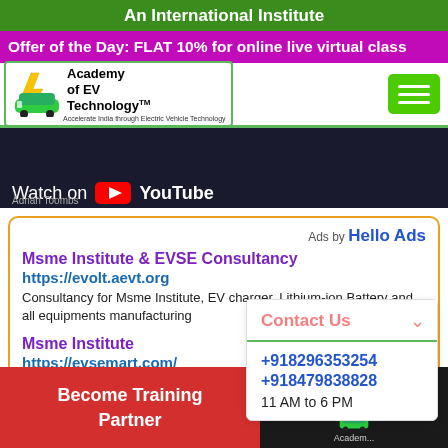An International Institute
Offer of the Day: FLAT 10% for online live virtual class
[Figure (logo): Academy of EV Technology logo with green border, lightning bolt and EV car icon, TM mark]
[Figure (screenshot): YouTube video banner with 'Watch on YouTube' overlay and 'Adrian Toombs' caption on dark background]
Ads by Hello Ads
Msme Institute & EVSE Consultancy
https://evolt.aevt.org
Consultancy for Msme Institute, EV charger, Lithium-ion Battery and all equipments manufacturing
Msme Institute
https://evsemart.com/
Buy Msme Institute - Buy EV charger, Lithium-ion equipments from EVSEMart
Contact Us
+918296353254
+918479838828
11 AM to 6 PM
Become Training Partner